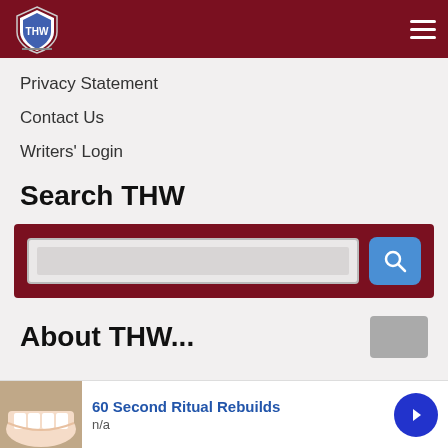THW logo and navigation header
Privacy Statement
Contact Us
Writers' Login
Search THW
[Figure (other): Search box with dark red background, text input field, and blue search button with magnifying glass icon]
About THW...
[Figure (other): Advertisement bar at bottom: 60 Second Ritual Rebuilds, n/a, with teeth/smile image and blue arrow button]